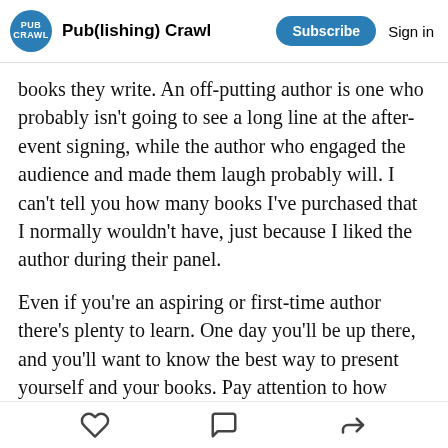Pub(lishing) Crawl | Subscribe | Sign in
books they write. An off-putting author is one who probably isn't going to see a long line at the after-event signing, while the author who engaged the audience and made them laugh probably will. I can't tell you how many books I've purchased that I normally wouldn't have, just because I liked the author during their panel.
Even if you're an aspiring or first-time author there's plenty to learn. One day you'll be up there, and you'll want to know the best way to present yourself and your books. Pay attention to how different authors interact with the audience and how the audience responds to them.